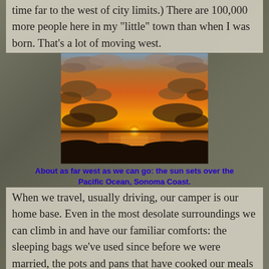time far to the west of city limits.) There are 100,000 more people here in my "little" town than when I was born. That's a lot of moving west.
[Figure (photo): A sunset over the Pacific Ocean with orange and amber sky reflected on the water, silhouettes of clouds, Sonoma Coast.]
About as far west as we can go: the sun sets over the Pacific Ocean, Sonoma Coast.
When we travel, usually driving, our camper is our home base. Even in the most desolate surroundings we can climb in and have our familiar comforts: the sleeping bags we've used since before we were married, the pots and pans that have cooked our meals for 25 years. It's our home in the sense of a place to sleep and eat and be safe. I guess in that